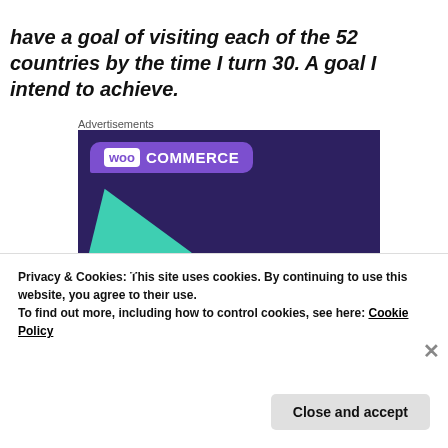have a goal of visiting each of the 52 countries by the time I turn 30. A goal I intend to achieve.
Advertisements
[Figure (photo): WooCommerce advertisement: dark purple background with teal triangle shape, cyan circle, WooCommerce logo in purple speech-bubble with white text, and text reading 'Turn your hobby into a business in 8 steps']
Privacy & Cookies: This site uses cookies. By continuing to use this website, you agree to their use.
To find out more, including how to control cookies, see here: Cookie Policy
Close and accept